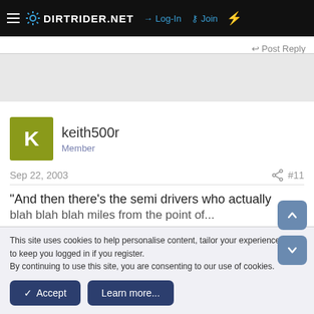DIRTRIDER.NET — Log-In | Join
Post Reply
[Figure (other): Gray advertisement banner area]
keith500r
Member
Sep 22, 2003  #11
"And then there's the semi drivers who actually
This site uses cookies to help personalise content, tailor your experience and to keep you logged in if you register.
By continuing to use this site, you are consenting to our use of cookies.
Accept   Learn more...